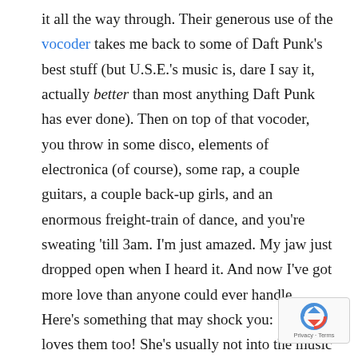it all the way through. Their generous use of the vocoder takes me back to some of Daft Punk's best stuff (but U.S.E.'s music is, dare I say it, actually better than most anything Daft Punk has ever done). Then on top of that vocoder, you throw in some disco, elements of electronica (of course), some rap, a couple guitars, a couple back-up girls, and an enormous freight-train of dance, and you're sweating 'till 3am. I'm just amazed. My jaw just dropped open when I heard it. And now I've got more love than anyone could ever handle. Here's something that may shock you: Steph loves them too! She's usually not into the music I get excited about. Never liked Daft Punk too much with the exception of a couple songs. Wasn't excited about Chromeo at all. can't stand Phish. But in the case of U.S.E. she actually